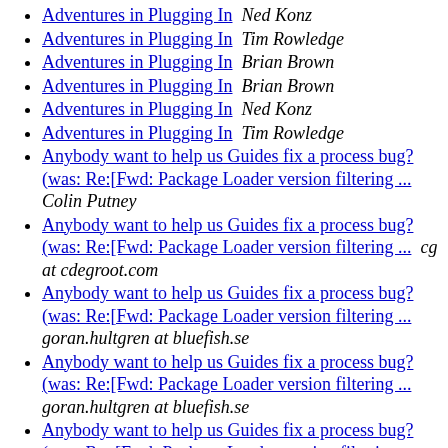Adventures in Plugging In  Ned Konz
Adventures in Plugging In  Tim Rowledge
Adventures in Plugging In  Brian Brown
Adventures in Plugging In  Brian Brown
Adventures in Plugging In  Ned Konz
Adventures in Plugging In  Tim Rowledge
Anybody want to help us Guides fix a process bug? (was: Re:[Fwd: Package Loader version filtering ...  Colin Putney
Anybody want to help us Guides fix a process bug? (was: Re:[Fwd: Package Loader version filtering ...  cg at cdegroot.com
Anybody want to help us Guides fix a process bug? (was: Re:[Fwd: Package Loader version filtering ...  goran.hultgren at bluefish.se
Anybody want to help us Guides fix a process bug? (was: Re:[Fwd: Package Loader version filtering ...  goran.hultgren at bluefish.se
Anybody want to help us Guides fix a process bug? (was: Re: [Fwd: Package Loader version filtering ...  Andrew Berg
Anybody want to help us Guides fix a process bug? (was: Re: [Fwd: Package Loader version filtering ...  Andrew Berg
Anybody want to help us Guides fix a process bug?